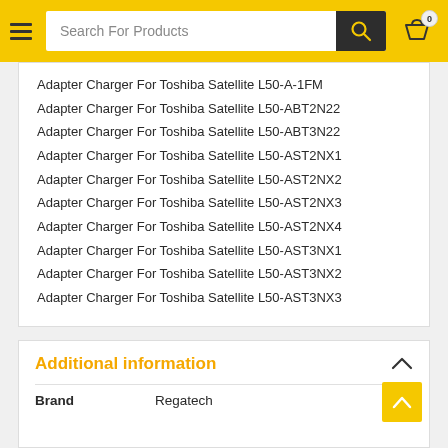Search For Products
Adapter Charger For Toshiba Satellite L50-A-1FM
Adapter Charger For Toshiba Satellite L50-ABT2N22
Adapter Charger For Toshiba Satellite L50-ABT3N22
Adapter Charger For Toshiba Satellite L50-AST2NX1
Adapter Charger For Toshiba Satellite L50-AST2NX2
Adapter Charger For Toshiba Satellite L50-AST2NX3
Adapter Charger For Toshiba Satellite L50-AST2NX4
Adapter Charger For Toshiba Satellite L50-AST3NX1
Adapter Charger For Toshiba Satellite L50-AST3NX2
Adapter Charger For Toshiba Satellite L50-AST3NX3
Additional information
| Brand |  |
| --- | --- |
| Brand | Regatech |